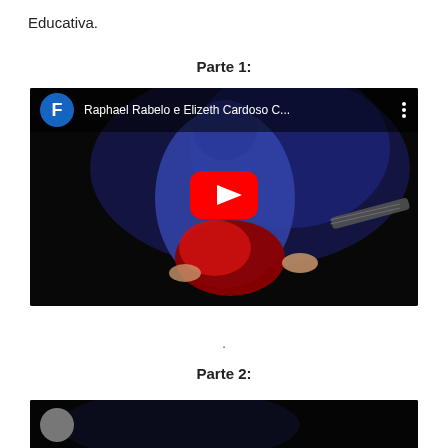Educativa.
Parte 1:
[Figure (screenshot): YouTube video thumbnail showing a musician playing a red guitar on a dark stage with blue lighting. The video title reads 'Raphael Rabelo e Elizeth Cardoso C...' with a channel avatar showing the letter F on a blue circle. A red YouTube play button is centered on the thumbnail.]
.
Parte 2:
[Figure (screenshot): Partial YouTube video thumbnail visible at bottom of page, showing bottom portion of another video embed.]